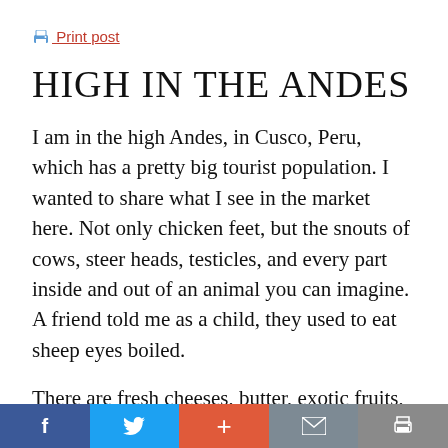🖨 Print post
HIGH IN THE ANDES
I am in the high Andes, in Cusco, Peru, which has a pretty big tourist population. I wanted to share what I see in the market here. Not only chicken feet, but the snouts of cows, steer heads, testicles, and every part inside and out of an animal you can imagine. A friend told me as a child, they used to eat sheep eyes boiled.
There are fresh cheeses, butter, exotic fruits,
f  🐦  +  ✉  🖨